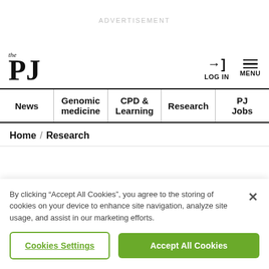ADVERTISEMENT
[Figure (logo): The PJ (Pharmaceutical Journal) logo with 'the' in italic above large bold 'PJ']
LOG IN
MENU
| News | Genomic medicine | CPD & Learning | Research | PJ Jobs |
| --- | --- | --- | --- | --- |
Home / Research
By clicking “Accept All Cookies”, you agree to the storing of cookies on your device to enhance site navigation, analyze site usage, and assist in our marketing efforts.
Cookies Settings
Accept All Cookies